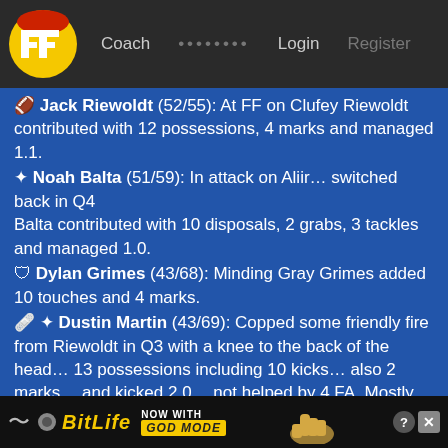FF Coach ........ Login Register
🏈 Jack Riewoldt (52/55): At FF on Clufey Riewoldt contributed with 12 possessions, 4 marks and managed 1.1.
✦ Noah Balta (51/59): In attack on Aliir… switched back in Q4 Balta contributed with 10 disposals, 2 grabs, 3 tackles and managed 1.0.
🛡 Dylan Grimes (43/68): Minding Gray Grimes added 10 touches and 4 marks.
🩹 ✦ Dustin Martin (43/69): Copped some friendly fire from Riewoldt in Q3 with a knee to the back of the head… 13 possessions including 10 kicks… also 2 marks… and kicked 2.0… not helped by 4 FA. Mostly forward on Jonas.
[Figure (screenshot): BitLife advertisement banner - NOW WITH GOD MODE]